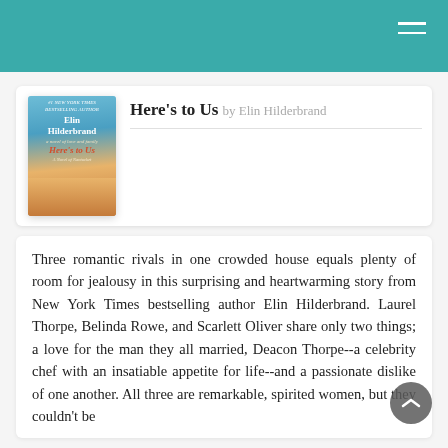Here's to Us by Elin Hilderbrand
[Figure (illustration): Book cover of 'Here's to Us' by Elin Hilderbrand, showing a beach scene with colorful items in the sand under a blue sky. Author name 'Elin Hilderbrand' and title 'Here's to Us' are displayed on the cover.]
Three romantic rivals in one crowded house equals plenty of room for jealousy in this surprising and heartwarming story from New York Times bestselling author Elin Hilderbrand. Laurel Thorpe, Belinda Rowe, and Scarlett Oliver share only two things; a love for the man they all married, Deacon Thorpe--a celebrity chef with an insatiable appetite for life--and a passionate dislike of one another. All three are remarkable, spirited women, but they couldn't be